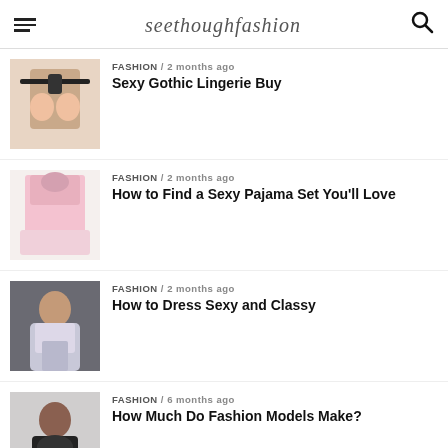seethoughfashion
FASHION / 2 months ago — Sexy Gothic Lingerie Buy
FASHION / 2 months ago — How to Find a Sexy Pajama Set You'll Love
FASHION / 2 months ago — How to Dress Sexy and Classy
FASHION / 6 months ago — How Much Do Fashion Models Make?
FASHION / 6 months ago